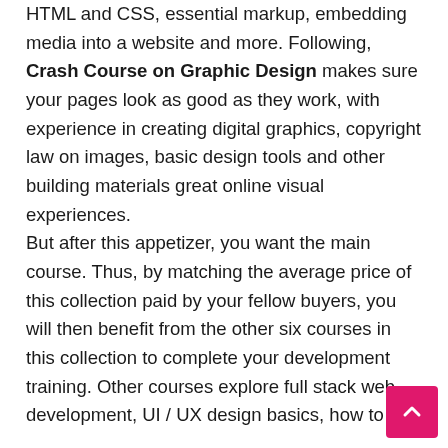HTML and CSS, essential markup, embedding media into a website and more. Following, Crash Course on Graphic Design makes sure your pages look as good as they work, with experience in creating digital graphics, copyright law on images, basic design tools and other building materials great online visual experiences.

But after this appetizer, you want the main course. Thus, by matching the average price of this collection paid by your fellow buyers, you will then benefit from the other six courses in this collection to complete your development training. Other courses explore full stack web development, UI / UX design basics, how to use